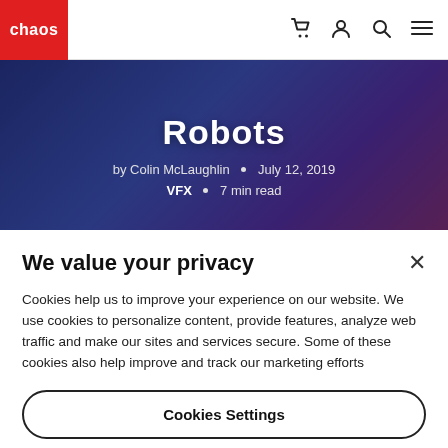chaos
[Figure (screenshot): Hero banner showing 'Robots' article header with dark blue/purple gradient background, robot imagery, by Colin McLaughlin, July 12, 2019, VFX, 7 min read]
We value your privacy
Cookies help us to improve your experience on our website. We use cookies to personalize content, provide features, analyze web traffic and make our sites and services secure. Some of these cookies also help improve and track our marketing efforts
Cookies Settings
Accept All Cookies